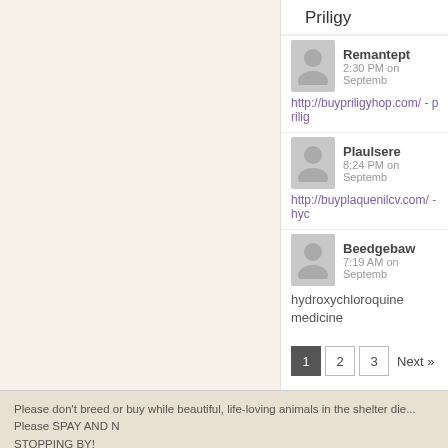Priligy
Remantept
2:30 PM on Septemb…
http://buypriligyhop.com/ - prilig…
Plaulsere
8:24 PM on Septemb…
http://buyplaquenilcv.com/ - hyc…
Beedgebaw
7:19 AM on Septemb…
hydroxychloroquine medicine
1  2  3  Next »
Please don't breed or buy while beautiful, life-loving animals in the shelter die... Please SPAY AND … STOPPING BY!